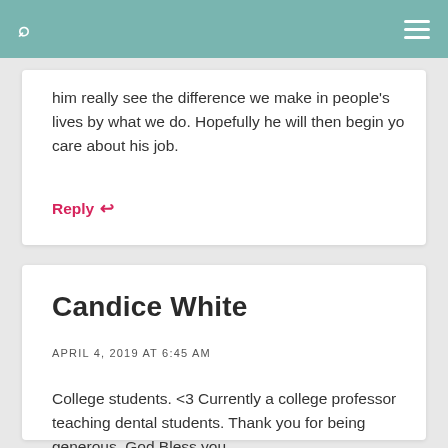him really see the difference we make in people's lives by what we do. Hopefully he will then begin yo care about his job.
Reply ↩
Candice White
APRIL 4, 2019 AT 6:45 AM
College students. <3 Currently a college professor teaching dental students. Thank you for being generous. God Bless you